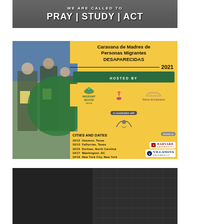[Figure (photo): Dark stone/pavement background with text overlay reading 'PRAY | STUDY | ACT' in bold white letters]
[Figure (infographic): Event flyer for Caravana de Madres de Personas Migrantes Desaparecidas 2021. Yellow background with photo of people on left. Hosted by Migrant Roots Media and other organizations. Cities and dates listed: 10/12 Houston TX, 10/13 Falfurrias TX, 10/15 Durham NC, 10/17 Washington DC, 10/19 New York City NY, 10/21 Boston MA, 10/22 Villanova PA. Events at Harvard University and Villanova University.]
[Figure (photo): Dark grayscale architectural/urban background with large white bold text 'BIRTH OF A MOVEMENT']